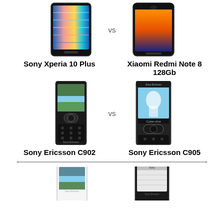[Figure (photo): Sony Xperia 10 Plus phone image with colorful abstract screen]
[Figure (photo): Xiaomi Redmi Note 8 128Gb phone image with orange/gradient screen]
Sony Xperia 10 Plus
Xiaomi Redmi Note 8
128Gb
[Figure (photo): Sony Ericsson C902 phone image]
[Figure (photo): Sony Ericsson C905 phone image]
Sony Ericsson C902
Sony Ericsson C905
[Figure (photo): White Sony Ericsson phone (partial, bottom of page)]
[Figure (photo): Black Sony phone (partial, bottom of page)]